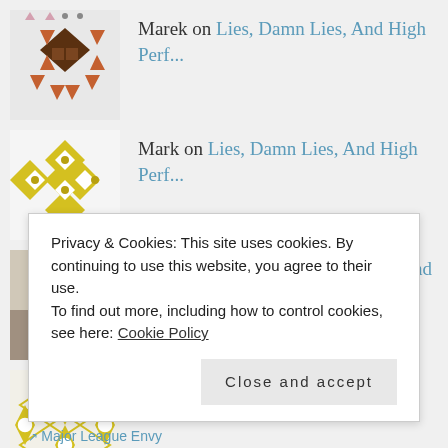Marek on Lies, Damn Lies, And High Perf...
Mark on Lies, Damn Lies, And High Perf...
dannycricket on Lies, Damn Lies, And High Perf...
N on Lies, Damn Lies, And High Perf...
Privacy & Cookies: This site uses cookies. By continuing to use this website, you agree to their use.
To find out more, including how to control cookies, see here: Cookie Policy
Close and accept
Major League Envy